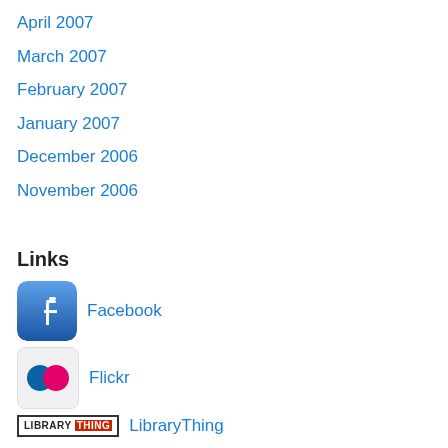April 2007
March 2007
February 2007
January 2007
December 2006
November 2006
Links
[Figure (logo): Facebook app icon - blue rounded square with white 'f' letter]
Facebook
[Figure (logo): Flickr icon - white rounded square with blue and pink circles]
Flickr
[Figure (logo): LibraryThing logo - text in bordered box]
LibraryThing